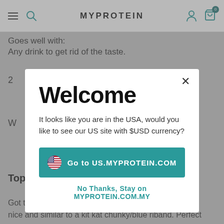MYPROTEIN
Goes well with:
Any drink to get rid of the taste.
Welcome
It looks like you are in the USA, would you like to see our US site with $USD currency?
Go to US.MYPROTEIN.COM
No Thanks, Stay on MYPROTEIN.COM.MY
Top treat! ★★★★★
Got these as a gift and loved them! They taste just as nice and similar to a kit kat chunky/blue riband. Perfect